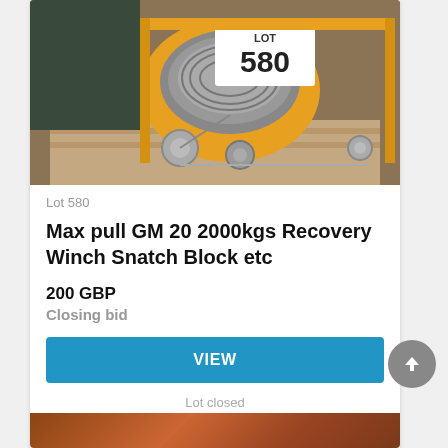[Figure (photo): Photo of a yellow winch reel with wire cable, labeled LOT 580, sitting on a wooden pallet with metal equipment and a snatch block visible]
Lot 580
Max pull GM 20 2000kgs Recovery Winch Snatch Block etc
200 GBP
Closing bid
VIEW
Lot closed
Lot location: Colsterworth, Lincolnshire